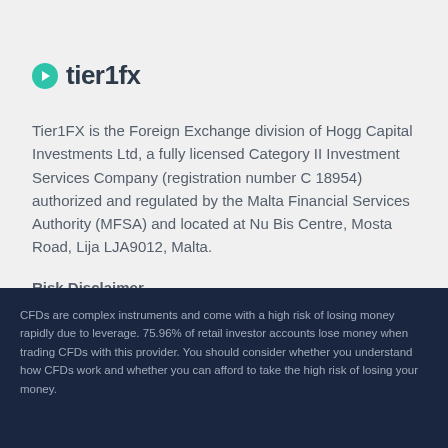[Figure (logo): Tier1FX logo with green circle arrow icon and dark text 'tier1fx']
Tier1FX is the Foreign Exchange division of Hogg Capital Investments Ltd, a fully licensed Category II Investment Services Company (registration number C 18954) authorized and regulated by the Malta Financial Services Authority (MFSA) and located at Nu Bis Centre, Mosta Road, Lija LJA9012, Malta.
Risk Disclaimer
You acknowledge that trading derivative financial instruments, including foreign exchange, futures,
CFDs are complex instruments and come with a high risk of losing money rapidly due to leverage. 75.96% of retail investor accounts lose money when trading CFDs with this provider. You should consider whether you understand how CFDs work and whether you can afford to take the high risk of losing your money.